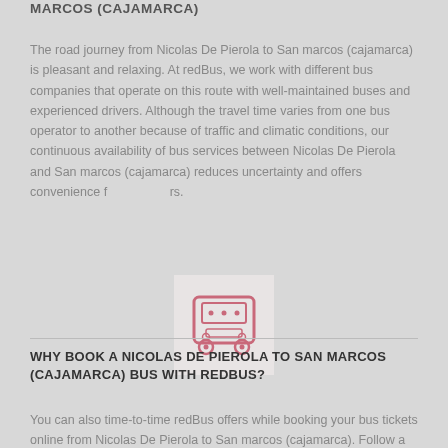MARCOS (CAJAMARCA)
The road journey from Nicolas De Pierola to San marcos (cajamarca) is pleasant and relaxing. At redBus, we work with different bus companies that operate on this route with well-maintained buses and experienced drivers. Although the travel time varies from one bus operator to another because of traffic and climatic conditions, our continuous availability of bus services between Nicolas De Pierola and San marcos (cajamarca) reduces uncertainty and offers convenience f rs.
[Figure (illustration): A red/pink line-art icon of a bus (front view) on a light gray background square.]
WHY BOOK A NICOLAS DE PIEROLA TO SAN MARCOS (CAJAMARCA) BUS WITH REDBUS?
You can also time-to-time redBus offers while booking your bus tickets online from Nicolas De Pierola to San marcos (cajamarca). Follow a simple, fast and secure bus booking procedure. This helps save time and also helps to